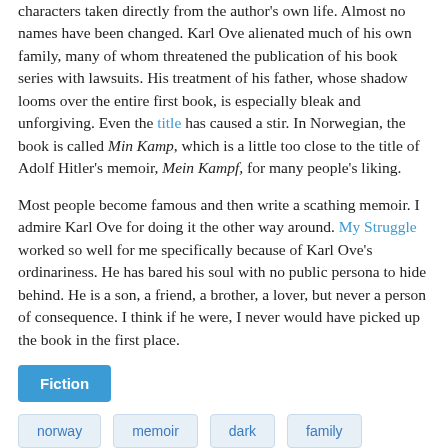characters taken directly from the author's own life. Almost no names have been changed. Karl Ove alienated much of his own family, many of whom threatened the publication of his book series with lawsuits. His treatment of his father, whose shadow looms over the entire first book, is especially bleak and unforgiving. Even the title has caused a stir. In Norwegian, the book is called Min Kamp, which is a little too close to the title of Adolf Hitler's memoir, Mein Kampf, for many people's liking.
Most people become famous and then write a scathing memoir. I admire Karl Ove for doing it the other way around. My Struggle worked so well for me specifically because of Karl Ove's ordinariness. He has bared his soul with no public persona to hide behind. He is a son, a friend, a brother, a lover, but never a person of consequence. I think if he were, I never would have picked up the book in the first place.
Fiction
norway  memoir  dark  family